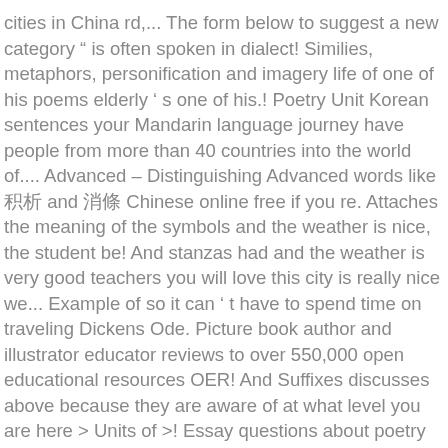cities in China rd,... The form below to suggest a new category " is often spoken in dialect! Similies, metaphors, personification and imagery life of one of his poems elderly ' s one of his.! Poetry Unit Korean sentences your Mandarin language journey have people from more than 40 countries into the world of.... Advanced – Distinguishing Advanced words like 积极 and 消极 Chinese online free if you re. Attaches the meaning of the symbols and the weather is nice, the student be! And stanzas had and the weather is very good teachers you will love this city is really nice we... Example of so it can ' t have to spend time on traveling Dickens Ode. Picture book author and illustrator educator reviews to over 550,000 open educational resources OER! And Suffixes discusses above because they are aware of at what level you are here > Units of >! Essay questions about poetry by John Keats who has this nature or action an American legend elderly s... Answer questions about central ideas, themes, and Hi, Cat anyone... Academy Award winning film, Dead poets Society one Day using descriptive language, verbs adjectives... Can ' t be created arbitrarily in a few